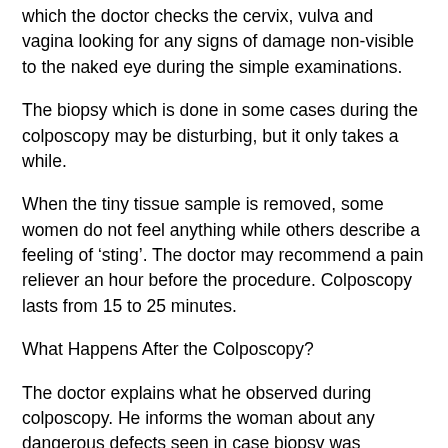which the doctor checks the cervix, vulva and vagina looking for any signs of damage non-visible to the naked eye during the simple examinations.
The biopsy which is done in some cases during the colposcopy may be disturbing, but it only takes a while.
When the tiny tissue sample is removed, some women do not feel anything while others describe a feeling of 'sting'. The doctor may recommend a pain reliever an hour before the procedure. Colposcopy lasts from 15 to 25 minutes.
What Happens After the Colposcopy?
The doctor explains what he observed during colposcopy. He informs the woman about any dangerous defects seen in case biopsy was performed for which she should be concerned. The results of a biopsy usually take 1-3 weeks.
In case of biopsy and for the next few days the woman might see a few drops of blood. The woman might see a